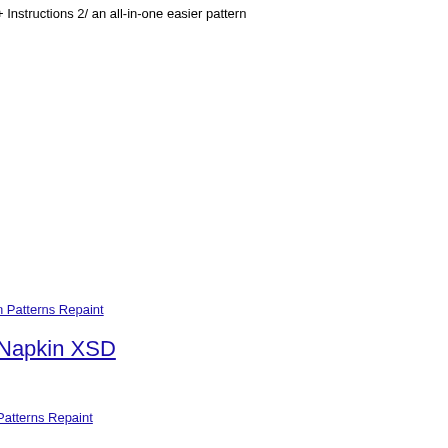+ Instructions 2/ an all-in-one easier pattern
n Patterns Repaint
Napkin XSD
Patterns Repaint